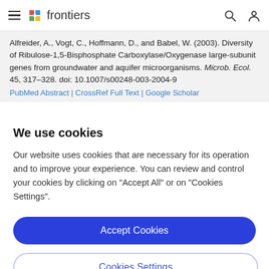frontiers
Alfreider, A., Vogt, C., Hoffmann, D., and Babel, W. (2003). Diversity of Ribulose-1,5-Bisphosphate Carboxylase/Oxygenase large-subunit genes from groundwater and aquifer microorganisms. Microb. Ecol. 45, 317–328. doi: 10.1007/s00248-003-2004-9
PubMed Abstract | CrossRef Full Text | Google Scholar
We use cookies
Our website uses cookies that are necessary for its operation and to improve your experience. You can review and control your cookies by clicking on "Accept All" or on "Cookies Settings".
Accept Cookies
Cookies Settings